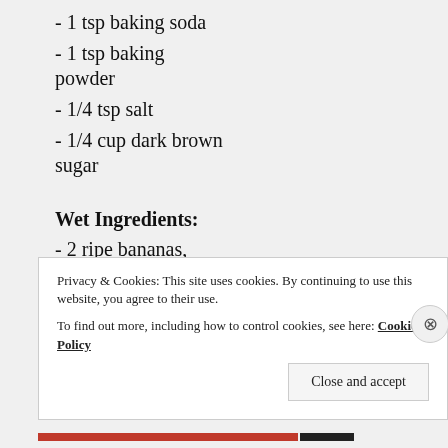- 1 tsp baking soda
- 1 tsp baking powder
- 1/4 tsp salt
- 1/4 cup dark brown sugar
Wet Ingredients:
- 2 ripe bananas, mashed
- 1 cup active sourdough starter
- 1 large egg
Privacy & Cookies: This site uses cookies. By continuing to use this website, you agree to their use.
To find out more, including how to control cookies, see here: Cookie Policy
Close and accept